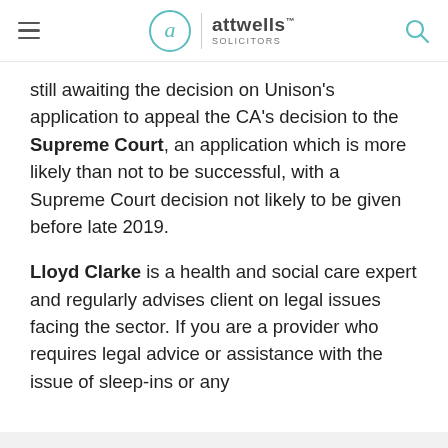Attwells Solicitors
still awaiting the decision on Unison's application to appeal the CA's decision to the Supreme Court, an application which is more likely than not to be successful, with a Supreme Court decision not likely to be given before late 2019.
Lloyd Clarke is a health and social care expert and regularly advises client on legal issues facing the sector. If you are a provider who requires legal advice or assistance with the issue of sleep-ins or any